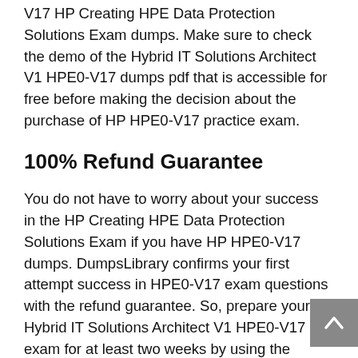V17 HP Creating HPE Data Protection Solutions Exam dumps. Make sure to check the demo of the Hybrid IT Solutions Architect V1 HPE0-V17 dumps pdf that is accessible for free before making the decision about the purchase of HP HPE0-V17 practice exam.
100% Refund Guarantee
You do not have to worry about your success in the HP Creating HPE Data Protection Solutions Exam if you have HP HPE0-V17 dumps. DumpsLibrary confirms your first attempt success in HPE0-V17 exam questions with the refund guarantee. So, prepare your Hybrid IT Solutions Architect V1 HPE0-V17 exam for at least two weeks by using the DumpsLibrary HPE0-V17 braindumps. If you could not get satisfied in the HP HPE0-V17 pdf at your initial try, then you can ask for your refund of HPE0-